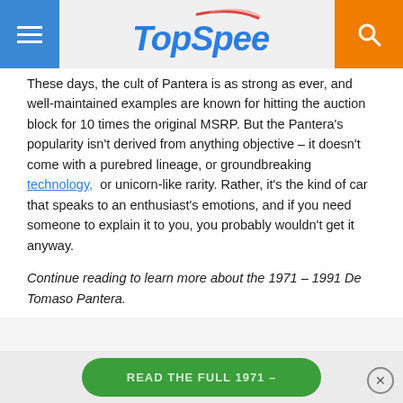TopSpeed
These days, the cult of Pantera is as strong as ever, and well-maintained examples are known for hitting the auction block for 10 times the original MSRP. But the Pantera's popularity isn't derived from anything objective – it doesn't come with a purebred lineage, or groundbreaking technology, or unicorn-like rarity. Rather, it's the kind of car that speaks to an enthusiast's emotions, and if you need someone to explain it to you, you probably wouldn't get it anyway.
Continue reading to learn more about the 1971 – 1991 De Tomaso Pantera.